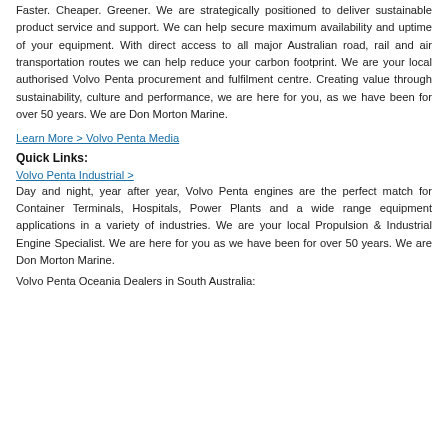Faster. Cheaper. Greener. We are strategically positioned to deliver sustainable product service and support. We can help secure maximum availability and uptime of your equipment. With direct access to all major Australian road, rail and air transportation routes we can help reduce your carbon footprint. We are your local authorised Volvo Penta procurement and fulfilment centre. Creating value through sustainability, culture and performance, we are here for you, as we have been for over 50 years. We are Don Morton Marine.
Learn More > Volvo Penta Media
Quick Links:
Volvo Penta Industrial >
Day and night, year after year, Volvo Penta engines are the perfect match for Container Terminals, Hospitals, Power Plants and a wide range equipment applications in a variety of industries. We are your local Propulsion & Industrial Engine Specialist. We are here for you as we have been for over 50 years. We are Don Morton Marine.
Volvo Penta Oceania Dealers in South Australia: